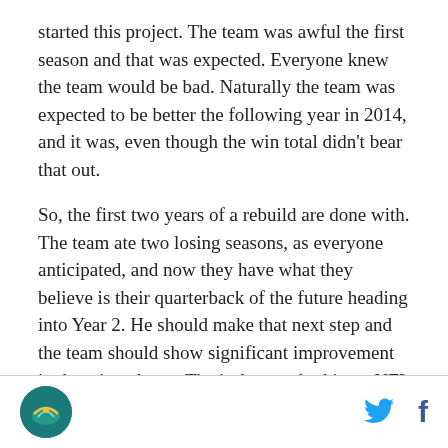started this project. The team was awful the first season and that was expected. Everyone knew the team would be bad. Naturally the team was expected to be better the following year in 2014, and it was, even though the win total didn't bear that out.
So, the first two years of a rebuild are done with. The team ate two losing seasons, as everyone anticipated, and now they have what they believe is their quarterback of the future heading into Year 2. He should make that next step and the team should show significant improvement in the win column. That's the standard in an NFL rebuild, Year 3 is where you see that big step, if you're going to take it.